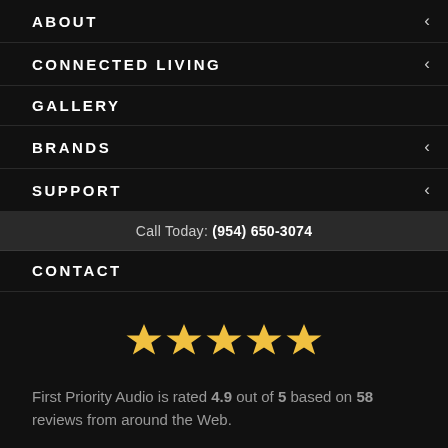ABOUT
CONNECTED LIVING
GALLERY
BRANDS
SUPPORT
Call Today: (954) 650-3074
CONTACT
[Figure (infographic): Five gold/yellow star rating icons in a row]
First Priority Audio is rated 4.9 out of 5 based on 58 reviews from around the Web.
" I met with Burt from First Priority a number of years ago - he was very knowledgeable and gracious with his time. "